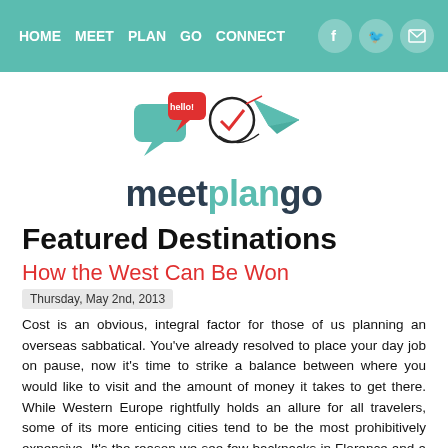HOME  MEET  PLAN  GO  CONNECT
[Figure (logo): Meet Plan Go logo with speech bubble saying 'hello!', a checkmark circle, and a paper airplane]
Featured Destinations
How the West Can Be Won
Thursday, May 2nd, 2013
Cost is an obvious, integral factor for those of us planning an overseas sabbatical.  You've already resolved to place your day job on pause, now it's time to strike a balance between where you would like to visit and the amount of money it takes to get there.  While Western Europe rightfully holds an allure for all travelers, some of its more enticing cities tend to be the most prohibitively expensive.  It's the reason we see few backpacks in Florence and a barrage in Luang Prabang; Southeast Asia is the affordable alternative, particularly when you're sustaining yourself with US dollars.  But is it completely out of the question to be Euro-friendly?  On a recent trip to Berlin, I discovered that Western Europe can indeed make the shortlist for potential career